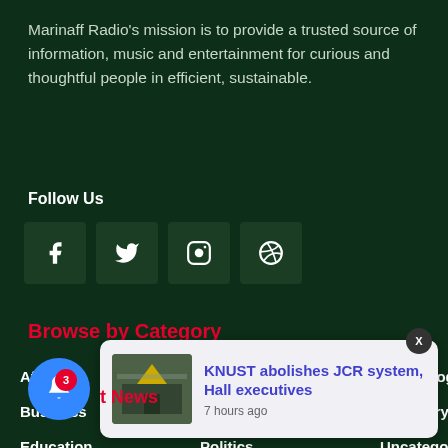Marinaff Radio's mission is to provide a trusted source of information, music and entertainment for curious and thoughtful people in efficient, sustainable.
Follow Us
[Figure (infographic): Social media icon buttons: Facebook, Twitter, Instagram, Dribbble on dark green rounded square backgrounds]
Browse by Category
Africa
Local News
Technology
Business
News
Top Story
Education
Politics
Uncategorized
Health
Showbiz
World News
Lifestyle
[Figure (screenshot): Notification popup: KNUST abolishes JCR system, Hall executives - 7 hours ago, with thumbnail image and X close button]
Latest News